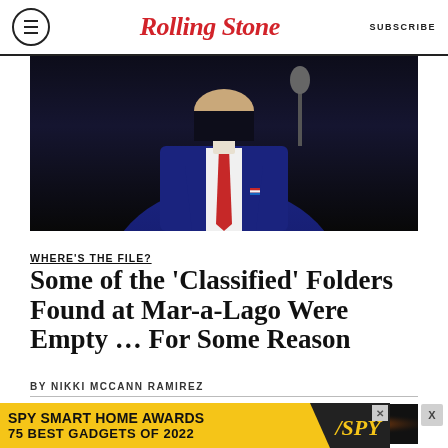Rolling Stone | SUBSCRIBE
[Figure (photo): A man in a dark navy suit with a red tie speaking at a microphone against a dark background]
WHERE'S THE FILE?
Some of the 'Classified' Folders Found at Mar-a-Lago Were Empty … For Some Reason
BY NIKKI MCCANN RAMIREZ
[Figure (photo): Dark strip at bottom with orange light]
[Figure (infographic): SPY Smart Home Awards 75 Best Gadgets of 2022 advertisement banner in yellow with SPY logo]